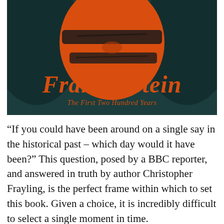[Figure (illustration): Book cover of 'Frankenstein: The First Two Hundred Years' showing a dark teal background with a stylized orange monster face at the top, and the title 'Frankenstein' in large orange blackletter/gothic font with subtitle 'The First Two Hundred Years' in smaller orange italic serif text below.]
“If you could have been around on a single say in the historical past – which day would it have been?” This question, posed by a BBC reporter, and answered in truth by author Christopher Frayling, is the perfect frame within which to set this book. Given a choice, it is incredibly difficult to select a single moment in time.